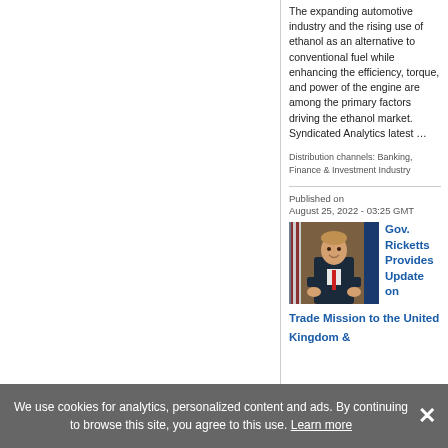The expanding automotive industry and the rising use of ethanol as an alternative to conventional fuel while enhancing the efficiency, torque, and power of the engine are among the primary factors driving the ethanol market. Syndicated Analytics latest …
Distribution channels: Banking, Finance & Investment Industry
Published on
August 25, 2022 - 03:25 GMT
[Figure (photo): Portrait photo of Gov. Ricketts in a suit with a red tie, seated in front of American flags]
Gov. Ricketts Provides Update on Trade Mission to the United Kingdom &
We use cookies for analytics, personalized content and ads. By continuing to browse this site, you agree to this use. Learn more